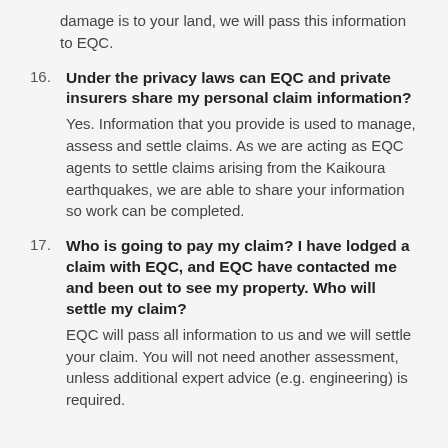damage is to your land, we will pass this information to EQC.
16. Under the privacy laws can EQC and private insurers share my personal claim information? Yes. Information that you provide is used to manage, assess and settle claims. As we are acting as EQC agents to settle claims arising from the Kaikoura earthquakes, we are able to share your information so work can be completed.
17. Who is going to pay my claim? I have lodged a claim with EQC, and EQC have contacted me and been out to see my property. Who will settle my claim? EQC will pass all information to us and we will settle your claim. You will not need another assessment, unless additional expert advice (e.g. engineering) is required.